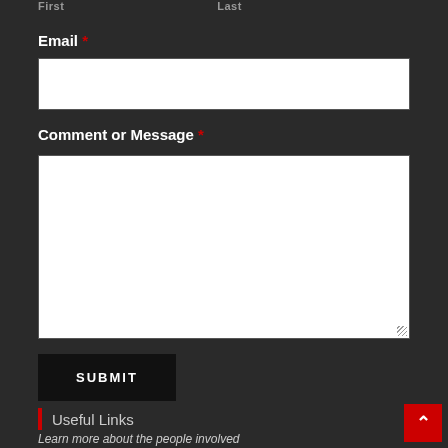First   Last
Email *
[Figure (screenshot): Empty email input text field with white background]
Comment or Message *
[Figure (screenshot): Large empty textarea for comment or message with white background and resize handle]
[Figure (screenshot): Submit button with dark background and white uppercase text]
Useful Links
Learn more about the people involved